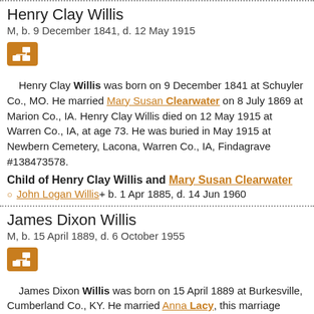Henry Clay Willis
M, b. 9 December 1841, d. 12 May 1915
[Figure (other): Orange icon button with family tree / pedigree chart symbol]
Henry Clay Willis was born on 9 December 1841 at Schuyler Co., MO. He married Mary Susan Clearwater on 8 July 1869 at Marion Co., IA. Henry Clay Willis died on 12 May 1915 at Warren Co., IA, at age 73. He was buried in May 1915 at Newbern Cemetery, Lacona, Warren Co., IA, Findagrave #138473578.
Child of Henry Clay Willis and Mary Susan Clearwater
John Logan Willis+ b. 1 Apr 1885, d. 14 Jun 1960
James Dixon Willis
M, b. 15 April 1889, d. 6 October 1955
[Figure (other): Orange icon button with family tree / pedigree chart symbol]
James Dixon Willis was born on 15 April 1889 at Burkesville, Cumberland Co., KY. He married Anna Lacy, this marriage broke up in the early 1920s -- by April, 1930 Anna was remarried to John D. Lee. She later married a